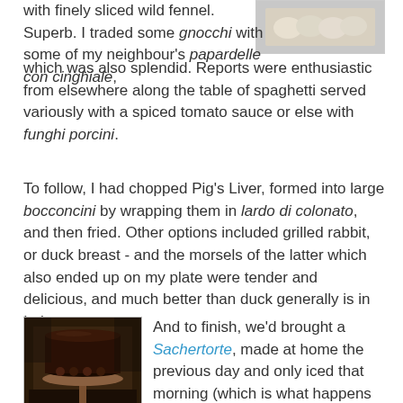with finely sliced wild fennel. Superb. I traded some gnocchi with some of my neighbour's papardelle con cinghiale, which was also splendid. Reports were enthusiastic from elsewhere along the table of spaghetti served variously with a spiced tomato sauce or else with funghi porcini.
[Figure (photo): Close-up photograph of what appears to be gnocchi or dumplings on a plate, light background]
To follow, I had chopped Pig's Liver, formed into large bocconcini by wrapping them in lardo di colonato, and then fried. Other options included grilled rabbit, or duck breast - and the morsels of the latter which also ended up on my plate were tender and delicious, and much better than duck generally is in Italy.
[Figure (photo): Dark photograph of what appears to be a Sachertorte cake on a stand in dim indoor lighting]
And to finish, we'd brought a Sachertorte, made at home the previous day and only iced that morning (which is what happens when you discover midway through a Sunday afternoon in Italy that you've run out of sugar, and have to halt production until the shops open again at 8 am the following morning!). Transported with great care, and handed to the kitchen on arrival, along with a single birthday